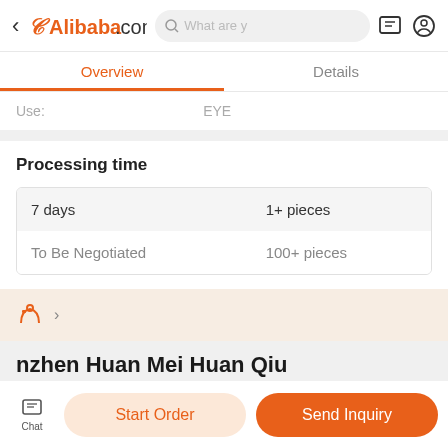Alibaba.com — What are you looking for?
Overview | Details
Use: EYE
Processing time
| Time | Quantity |
| --- | --- |
| 7 days | 1+ pieces |
| To Be Negotiated | 100+ pieces |
nzhen Huan Mei Huan Qiu Import & Export Co., Ltd.
Chat | Start Order | Send Inquiry